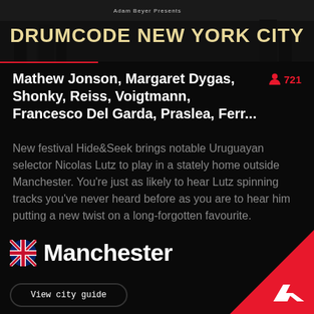[Figure (photo): Drumcode New York City event banner — dark cityscape background with bold text 'DRUMCODE NEW YORK CITY' in yellow/cream, smaller text above reading 'Adam Beyer Presents']
Mathew Jonson, Margaret Dygas, Shonky, Reiss, Voigtmann, Francesco Del Garda, Praslea, Ferr...
721 attendees
New festival Hide&Seek brings notable Uruguayan selector Nicolas Lutz to play in a stately home outside Manchester. You're just as likely to hear Lutz spinning tracks you've never heard before as you are to hear him putting a new twist on a long-forgotten favourite.
View more archive
Manchester
View city guide